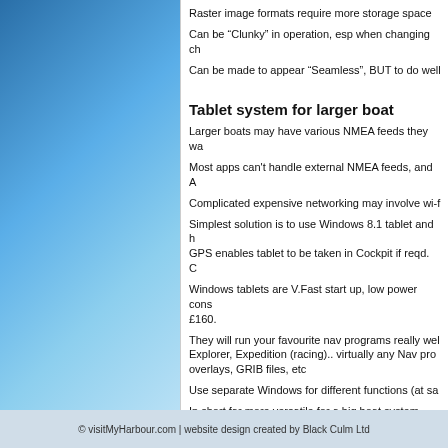Raster image formats require more storage space
Can be “Clunky” in operation, esp when changing ch
Can be made to appear “Seamless”, BUT to do well
Tablet system for larger boat
Larger boats may have various NMEA feeds they wa
Most apps can't handle external NMEA feeds, and A
Complicated expensive networking may involve wi-f
Simplest solution is to use Windows 8.1 tablet and h GPS enables tablet to be taken in Cockpit if reqd.  C
Windows tablets are V.Fast start up, low power cons £160.
They will run your favourite nav programs really wel Explorer, Expedition (racing).. virtually any Nav pro overlays, GRIB files, etc
Use separate Windows for different functions (at sa
In short far more versatile for a big boat system
http://visitmyharbour.download.s3.amazonaws.com/0001
© visitMyHarbour.com | website design created by Black Culm Ltd